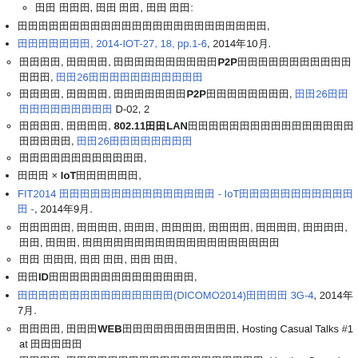○ 田田 田田, 田田 田田, 田田 田田:
田田田田田田田田田田田田田田田田田田田田田田田田,
田田田田田田田, 2014-IOT-27, 18, pp.1-6, 2014年10月.
○ 田田田田, 田田田田, 田田田田田田田田田田田P2P田田田田田田田田田田田田田田, 田田26田田田田田田田田田田田
○ 田田田田, 田田田田, 田田田田田田田P2P田田田田田田田田, 田田26田田田田田田田田田田田 D-02, 2
○ 田田田田, 田田田田, 802.11田田LAN田田田田田田田田田田田田田田田田田田田田田, 田田26田田田田田田田田
○ 田田田田田田田田田田田田,
田田田 × IoT田田田田田田田,
FIT2014 田田田田田田田田田田田田田田田 - IoT田田田田田田田田田田田田 -, 2014年9月.
○ 田田田田田, 田田田田, 田田田, 田田田田, 田田田田, 田田田田, 田田田田, 田田, 田田田, 田田田田田田田田田田田田田田田田田田田
○ 田田 田田田, 田田 田田, 田田 田田,
田田ID田田田田田田田田田田田田田田,
田田田田田田田田田田田田田田田(DICOMO2014)田田田田 3G-4, 2014年7月.
○ 田田田田, 田田田WEB田田田田田田田田田田田, Hosting Casual Talks #1 at 田田田田田
○ 田田田田, 田田田田田田田田田田田田田田田田田田田, Hosting Casual Talks #1 at 田田
○ 田田田田田田田田田田田田田田田田田田田田田田田田田田田田田, 田田田田Vol.114, No.19, C
○ 田田田田田田田田田田田田田田田田田田田田田田 田田田田田田田田田田2014年4月3日.
**田田田田田田田田 [#b2a63abb]
○ 田田田田,
田田田田田田田田田田田田田田田田田田田田田Wullenweber田田田田田,
田田田田田田田田田田田田, 2015田田田(第32回, 第3, 2015年3月1日.